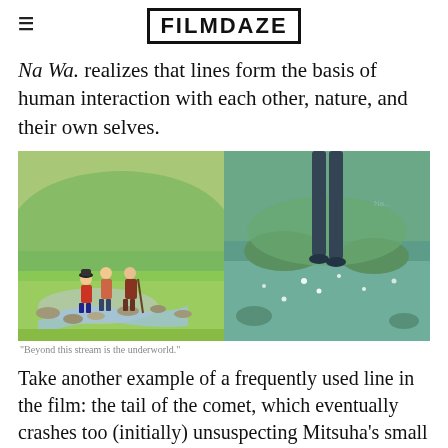FILMDAZE
Na Wa. realizes that lines form the basis of human interaction with each other, nature, and their own selves.
[Figure (photo): Two side-by-side animated film stills. Left: three animated characters (a child, a teen, and an elderly person with a cane) standing near a stone-lined stream in a lush green countryside. Right: a close-up of a person's legs/feet standing in or near a shallow stream with small white flowers and green vegetation.]
"Beyond this stream is the underworld."
Take another example of a frequently used line in the film: the tail of the comet, which eventually crashes too (initially) unsuspecting Mitsuha's small